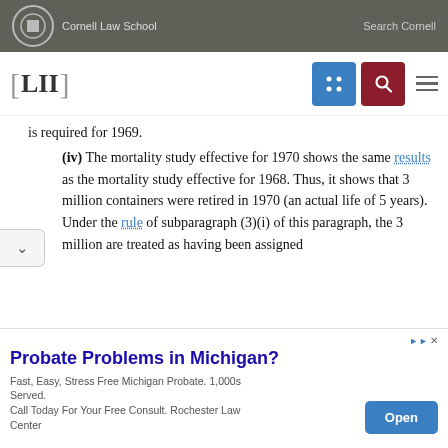Cornell Law School   Search Cornell
[Figure (logo): LII Legal Information Institute logo with navigation buttons]
is required for 1969.
(iv) The mortality study effective for 1970 shows the same results as the mortality study effective for 1968. Thus, it shows that 3 million containers were retired in 1970 (an actual life of 5 years). Under the rule of subparagraph (3)(i) of this paragraph, the 3 million are treated as having been assigned
[Figure (screenshot): Advertisement: Probate Problems in Michigan? Fast, Easy, Stress Free Michigan Probate. 1,000s Served. Call Today For Your Free Consult. Rochester Law Center. Open button.]